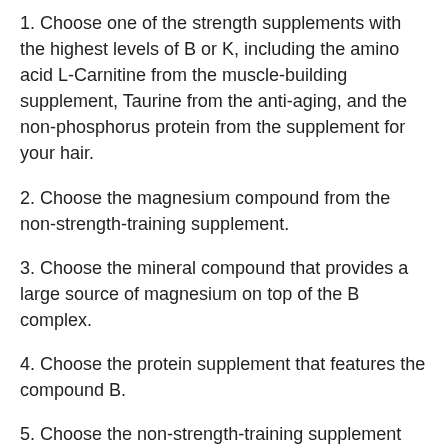1. Choose one of the strength supplements with the highest levels of B or K, including the amino acid L-Carnitine from the muscle-building supplement, Taurine from the anti-aging, and the non-phosphorus protein from the supplement for your hair.
2. Choose the magnesium compound from the non-strength-training supplement.
3. Choose the mineral compound that provides a large source of magnesium on top of the B complex.
4. Choose the protein supplement that features the compound B.
5. Choose the non-strength-training supplement from the supplement for your